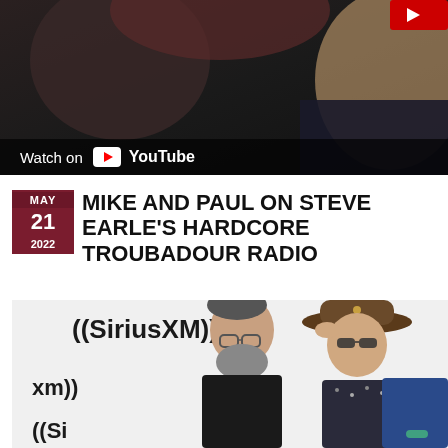[Figure (screenshot): YouTube video thumbnail showing two people, with a 'Watch on YouTube' overlay bar at the bottom containing the YouTube logo.]
MIKE AND PAUL ON STEVE EARLE'S HARDCORE TROUBADOUR RADIO
[Figure (photo): Two men posing in front of a SiriusXM branded backdrop. Left man has a beard and glasses, wearing a black t-shirt. Right man wears a brown cowboy hat, sunglasses, and a floral shirt with a blue jacket.]